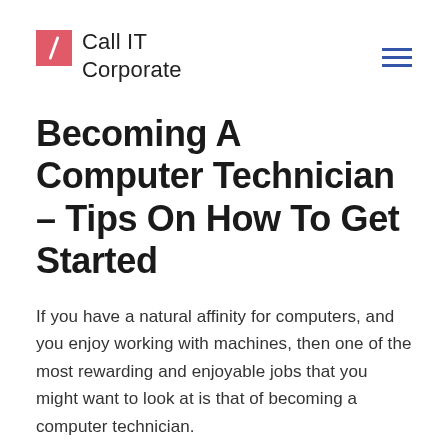Call IT Corporate
Becoming A Computer Technician – Tips On How To Get Started
If you have a natural affinity for computers, and you enjoy working with machines, then one of the most rewarding and enjoyable jobs that you might want to look at is that of becoming a computer technician.
Among the benefits of becoming a